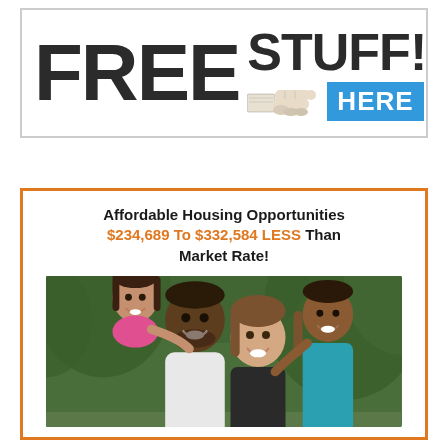[Figure (infographic): Banner with large bold text reading FREE STUFF! with a hand pointer pointing to a blue badge saying HERE]
Affordable Housing Opportunities $234,689 To $332,584 LESS Than Market Rate!
[Figure (photo): Happy family of four outdoors - father, mother, and two children smiling and embracing, with green trees in background]